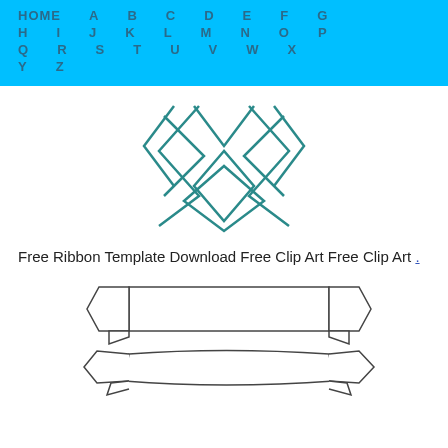HOME A B C D E F G H I J K L M N O P Q R S T U V W X Y Z
[Figure (illustration): Outline illustration of a ribbon/award shape made of two overlapping diamond/chevron outlines in teal color, forming a decorative X pattern]
Free Ribbon Template Download Free Clip Art Free Clip Art .
[Figure (illustration): Two ribbon banner outline illustrations: top one is a straight horizontal ribbon with arrow-notch ends and folded tabs below; bottom one is a wavy/curved ribbon banner with notched ends, both in dark outline style]